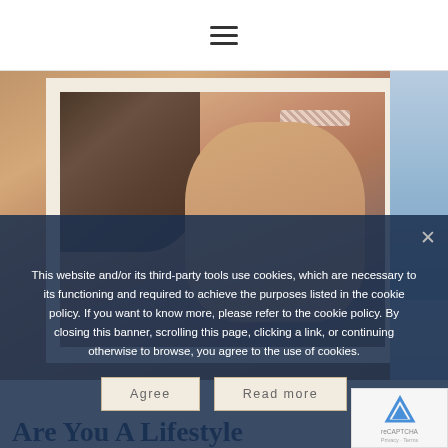≡ (hamburger menu icon)
[Figure (photo): Close-up photo of two children, warm skin tones, one wearing a patterned headband. Partial second image visible at right edge showing a blue/snowy scene. Image is displayed within a cream-colored card frame.]
This website and/or its third-party tools use cookies, which are necessary to its functioning and required to achieve the purposes listed in the cookie policy. If you want to know more, please refer to the cookie policy. By closing this banner, scrolling this page, clicking a link, or continuing otherwise to browse, you agree to the use of cookies.
Agree
Read more
Are You A Lifestyle